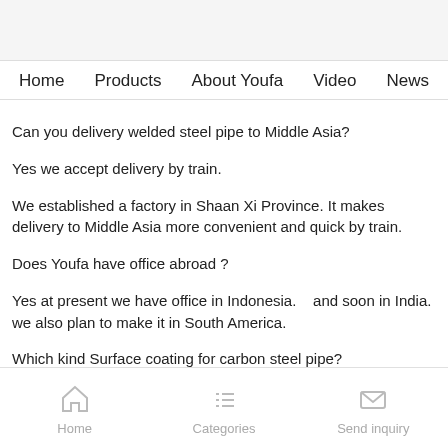Home  Products  About Youfa  Video  News
Can you delivery welded steel pipe to Middle Asia?
Yes we accept delivery by train.
We established a factory in Shaan Xi Province. It makes delivery to Middle Asia more convenient and quick by train.
Does Youfa have office abroad ?
Yes at present we have office in Indonesia.   and soon in India. we also plan to make it in South America.
Which kind Surface coating for carbon steel pipe?
Anti-rusted oil painting,   varnish painting,   ral3000 painted, galvanized,   3LPE, 3PP
Available steel products from Tianjin YOUFA?
ERW steel pipe, SSAW steel pipe, LSAW steel pipe, galvanized steel pipe, stainless steel pipe, casing and tubing pipe.
Home  Categories  Send inquiry